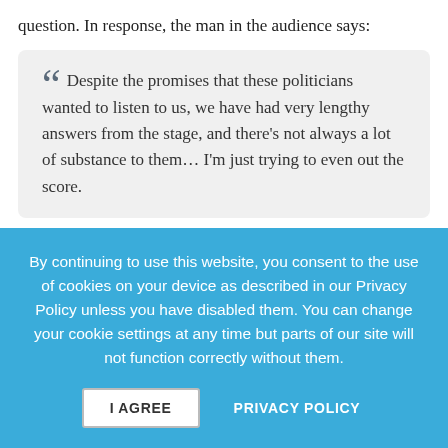question. In response, the man in the audience says:
“Despite the promises that these politicians wanted to listen to us, we have had very lengthy answers from the stage, and there’s not always a lot of substance to them… I’m just trying to even out the score.
But he concedes, and comes to the point:
By continuing to use this website, you consent to the use of cookies on your device as described in our Privacy Policy unless you have disabled them. You can change your cookie settings at any time but parts of our site will not function correctly without them.